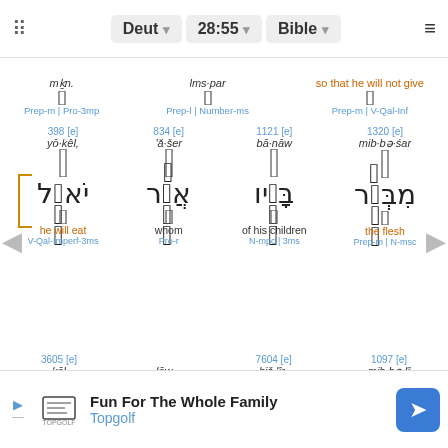Deut 28:55 Bible
Partial top row: Prep-m | Pro-3mp | Prep-l | Number-ms | so that he will not give | Prep-m | V-Qal-Inf
398 [e] yō·kêl, he will eat V-Qal-Imperf-3ms | 834 [e] 'ă·šer whom Pro-r | 1121 [e] bā·nāw of his children N-mpc | 3ms | 1320 [e] mib·bə·śar the flesh Prep-m | N-msc
3605 [e] kōl | lōw | 7604 [e] hiš·'îr- | 1097 [e] mib·bə·lî | e not | n | Adv
Fun For The Whole Family Topgolf